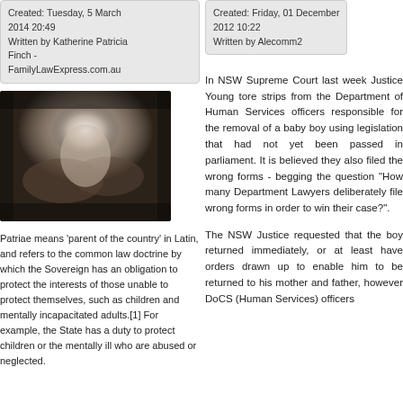Created: Tuesday, 5 March 2014 20:49
Written by Katherine Patricia Finch - FamilyLawExpress.com.au
Created: Friday, 07 December 2012 10:22
Written by Alecomm2
[Figure (photo): Black and white photo of hands cradling a newborn baby]
Patriae means 'parent of the country' in Latin, and refers to the common law doctrine by which the Sovereign has an obligation to protect the interests of those unable to protect themselves, such as children and mentally incapacitated adults.[1] For example, the State has a duty to protect children or the mentally ill who are abused or neglected.
In NSW Supreme Court last week Justice Young tore strips from the Department of Human Services officers responsible for the removal of a baby boy using legislation that had not yet been passed in parliament. It is believed they also filed the wrong forms - begging the question "How many Department Lawyers deliberately file wrong forms in order to win their case?".
The NSW Justice requested that the boy returned immediately, or at least have orders drawn up to enable him to be returned to his mother and father, however DoCS (Human Services) officers